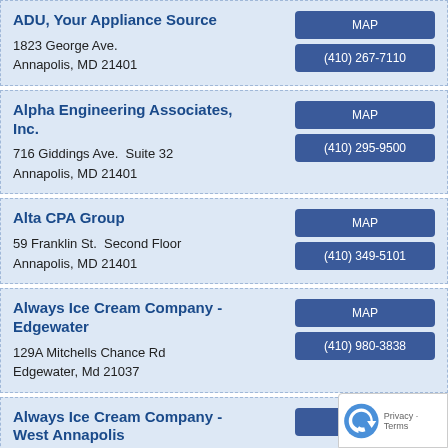ADU, Your Appliance Source
1823 George Ave.
Annapolis, MD 21401
MAP
(410) 267-7110
Alpha Engineering Associates, Inc.
716 Giddings Ave.  Suite 32
Annapolis, MD 21401
MAP
(410) 295-9500
Alta CPA Group
59 Franklin St.  Second Floor
Annapolis, MD 21401
MAP
(410) 349-5101
Always Ice Cream Company - Edgewater
129A Mitchells Chance Rd
Edgewater, Md 21037
MAP
(410) 980-3838
Always Ice Cream Company - West Annapolis
MAP
(410) 775-5???